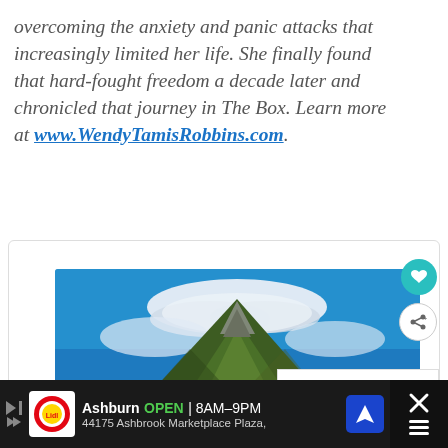overcoming the anxiety and panic attacks that increasingly limited her life. She finally found that hard-fought freedom a decade later and chronicled that journey in The Box. Learn more at www.WendyTamisRobbins.com.
[Figure (photo): Tropical over-water bungalows with thatched roofs on turquoise water, with a dramatic green mountain peak and lenticular cloud formation against a blue sky in the background. Bora Bora style scenery.]
WHAT'S NEXT → New Essentials f...
Ashburn OPEN | 8AM–9PM 44175 Ashbrook Marketplace Plaza,